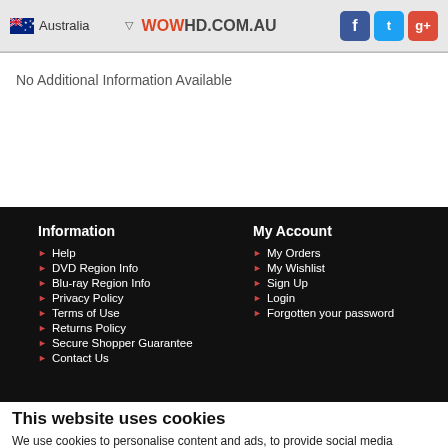Australia ▽ WOWHD.COM.AU [Facebook] [Twitter] [Google+]
No Additional Information Available
Information
Help
DVD Region Info
Blu-ray Region Info
Privacy Policy
Terms of Use
Returns Policy
Secure Shopper Guarantee
Contact Us
My Account
My Orders
My Wishlist
Sign Up
Login
Forgotten your password
This website uses cookies
We use cookies to personalise content and ads, to provide social media features and to analyse our traffic. We also share information about your use of our site with our social media, advertising and analytics partners who may